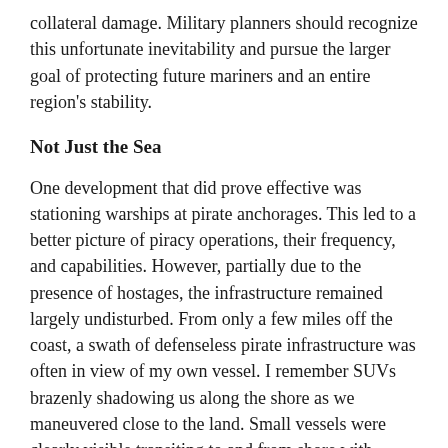collateral damage. Military planners should recognize this unfortunate inevitability and pursue the larger goal of protecting future mariners and an entire region's stability.
Not Just the Sea
One development that did prove effective was stationing warships at pirate anchorages. This led to a better picture of piracy operations, their frequency, and capabilities. However, partially due to the presence of hostages, the infrastructure remained largely undisturbed. From only a few miles off the coast, a swath of defenseless pirate infrastructure was often in view of my own vessel. I remember SUVs brazenly shadowing us along the shore as we maneuvered close to the land. Small vessels were clearly visible transiting to and from shore with supplies for anchored pirated vessels. Pirate skiffs were propped up in clusters above the tide near supply shacks and rows of vehicles. Pirates came to rely on these facilities to coordinate their operations at sea while simultaneously